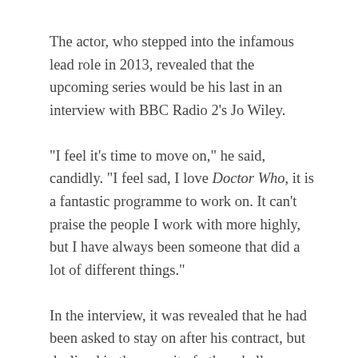The actor, who stepped into the infamous lead role in 2013, revealed that the upcoming series would be his last in an interview with BBC Radio 2's Jo Wiley.
“I feel it’s time to move on,” he said, candidly. “I feel sad, I love Doctor Who, it is a fantastic programme to work on. It can’t praise the people I work with more highly, but I have always been someone that did a lot of different things.”
In the interview, it was revealed that he had been asked to stay on after his contract, but declined in the pursuit of other challenges. Capaldi is the oldest actor to have taken on the role, which has seen 11 other actors assume the helm of the TARDIS in the show’s 52 year history.
Steven Moffat will also be leaving the show at the end of this